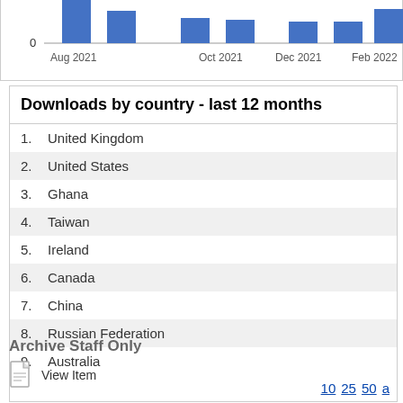[Figure (bar-chart): Downloads over time]
Downloads by country - last 12 months
1. United Kingdom
2. United States
3. Ghana
4. Taiwan
5. Ireland
6. Canada
7. China
8. Russian Federation
9. Australia
Archive Staff Only
View Item